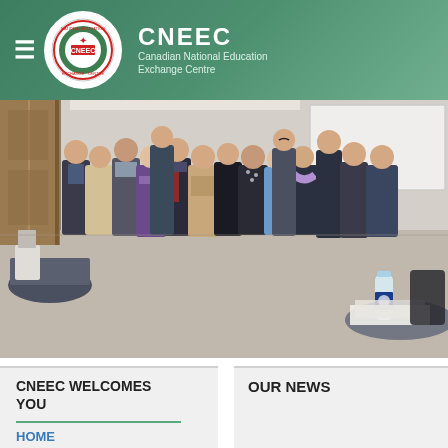CNEEC - Canadian National Education Exchange Centre
[Figure (photo): Group photo of approximately 15-16 people (students and faculty) standing together in a classroom or meeting room. A whiteboard is visible in the background, and there is a door on the left side. A table with a water bottle and papers is visible in the foreground right.]
CNEEC WELCOMES YOU
HOME
OUR NEWS